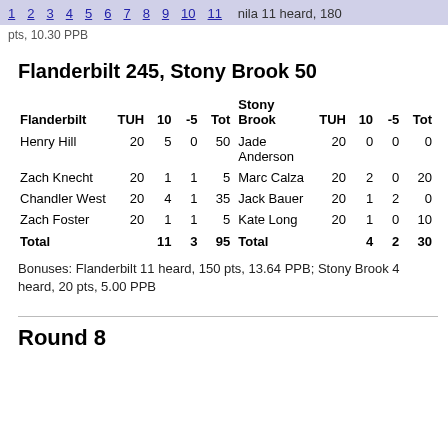1 2 3 4 5 6 7 8 9 10 11  nila 11 heard, 180 pts, 10.30 PPB
Flanderbilt 245, Stony Brook 50
| Flanderbilt | TUH | 10 | -5 | Tot | Stony Brook | TUH | 10 | -5 | Tot |
| --- | --- | --- | --- | --- | --- | --- | --- | --- | --- |
| Henry Hill | 20 | 5 | 0 | 50 | Jade Anderson | 20 | 0 | 0 | 0 |
| Zach Knecht | 20 | 1 | 1 | 5 | Marc Calza | 20 | 2 | 0 | 20 |
| Chandler West | 20 | 4 | 1 | 35 | Jack Bauer | 20 | 1 | 2 | 0 |
| Zach Foster | 20 | 1 | 1 | 5 | Kate Long | 20 | 1 | 0 | 10 |
| Total |  | 11 | 3 | 95 | Total |  | 4 | 2 | 30 |
Bonuses: Flanderbilt 11 heard, 150 pts, 13.64 PPB; Stony Brook 4 heard, 20 pts, 5.00 PPB
Round 8